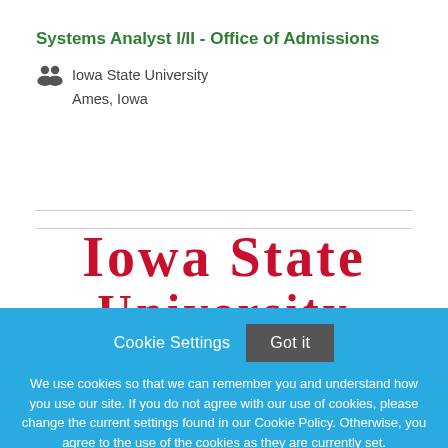Systems Analyst I/II - Office of Admissions
Iowa State University
Ames, Iowa
[Figure (logo): Iowa State University logo text in red serif font reading IOWA STATE UNIVERSITY]
Cookie Settings   Got it

We use cookies so that we can remember you and understand how you use our site. If you do not agree with our use of cookies, please change the current settings found in our Cookie Policy. Otherwise, you agree to the use of the cookies as they are currently set.